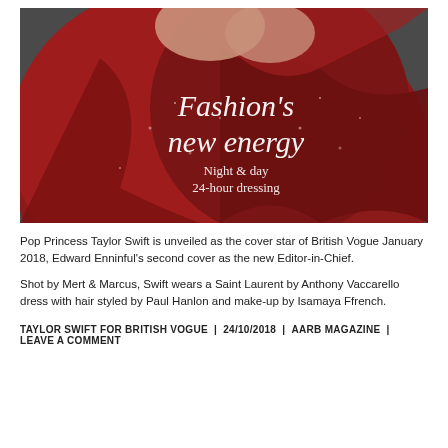[Figure (photo): British Vogue January 2018 cover featuring Taylor Swift in a red Saint Laurent dress. Text overlay reads: Fashion's new energy — Night & day 24-hour dressing]
Pop Princess Taylor Swift is unveiled as the cover star of British Vogue January 2018, Edward Enninful's second cover as the new Editor-in-Chief.
Shot by Mert & Marcus, Swift wears a Saint Laurent by Anthony Vaccarello dress with hair styled by Paul Hanlon and make-up by Isamaya Ffrench.
TAYLOR SWIFT FOR BRITISH VOGUE | 24/10/2018 | AARB MAGAZINE | LEAVE A COMMENT